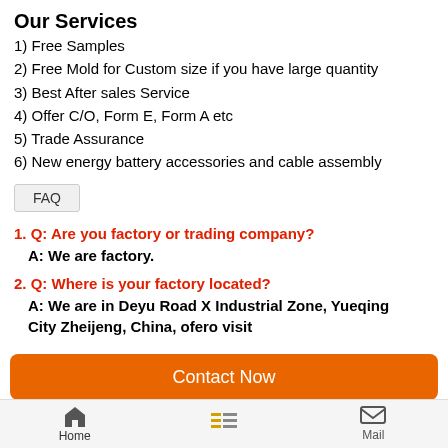Our Services
1) Free Samples
2) Free Mold for Custom size if you have large quantity
3) Best After sales Service
4) Offer C/O, Form E, Form A etc
5) Trade Assurance
6) New energy battery accessories and cable assembly
FAQ
1. Q: Are you factory or trading company?
   A: We are factory.
2. Q: Where is your factory located?
   A: We are in Deyu Road X Industrial Zone, Yueqing City Zheijeng, China, ofero visit